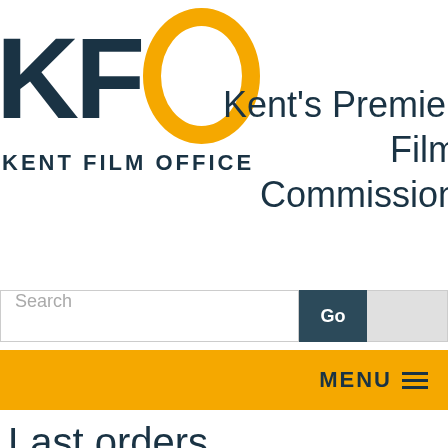[Figure (logo): Kent Film Office logo: large dark teal letters K and F followed by a gold ring O, with 'KENT FILM OFFICE' text beneath]
Kent's Premier Film Commission
Search
Go
MENU
Last orders